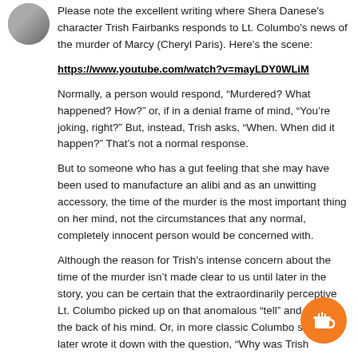[Figure (photo): Circular avatar photo of a person outdoors]
Please note the excellent writing where Shera Danese's character Trish Fairbanks responds to Lt. Columbo's news of the murder of Marcy (Cheryl Paris). Here's the scene:
https://www.youtube.com/watch?v=mayLDY0WLiM
Normally, a person would respond, “Murdered? What happened? How?” or, if in a denial frame of mind, “You’re joking, right?” But, instead, Trish asks, “When. When did it happen?” That’s not a normal response.
But to someone who has a gut feeling that she may have been used to manufacture an alibi and as an unwitting accessory, the time of the murder is the most important thing on her mind, not the circumstances that any normal, completely innocent person would be concerned with.
Although the reason for Trish’s intense concern about the time of the murder isn’t made clear to us until later in the story, you can be certain that the extraordinarily perceptive Lt. Columbo picked up on that anomalous “tell” and filed it in the back of his mind. Or, in more classic Columbo style, he later wrote it down with the question, “Why was Trish
[Figure (illustration): Orange circular button with a coffee cup icon]